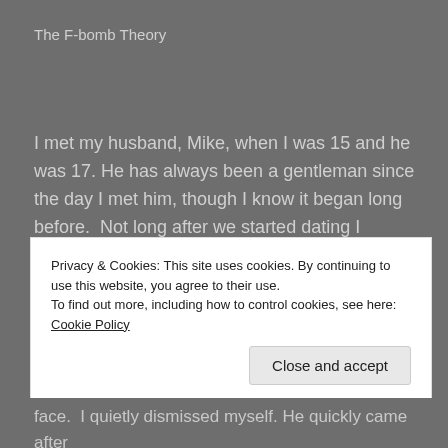The F-bomb Theory
I met my husband, Mike, when I was 15 and he was 17. He has always been a gentleman since the day I met him, though I know it began long before.  Not long after we started dating I happened to walk into the middle of a huddle of hormonal teenage boys laughing it up near the locker rooms at our high school gym.  My husband is hilarious and was the cause of the laughter.  He didn't
Privacy & Cookies: This site uses cookies. By continuing to use this website, you agree to their use.
To find out more, including how to control cookies, see here: Cookie Policy
face.  I quietly dismissed myself. He quickly came after